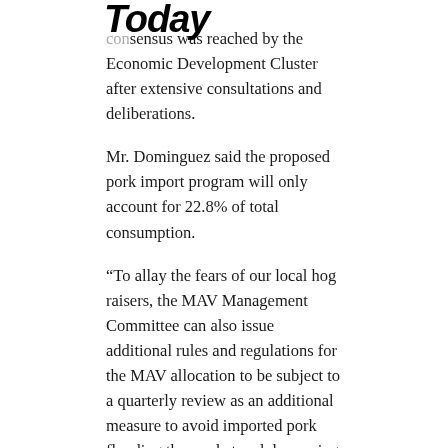Today
consensus was reached by the Economic Development Cluster after extensive consultations and deliberations.
Mr. Dominguez said the proposed pork import program will only account for 22.8% of total consumption.
“To allay the fears of our local hog raisers, the MAV Management Committee can also issue additional rules and regulations for the MAV allocation to be subject to a quarterly review as an additional measure to avoid imported pork flooding the market and depressing local prices below profitable levels,” Mr. Dominguez said.
Meanwhile, the Land Bank of the Philippines (LANDBANK) is increasing its loan support to pork producers and feed millers to P30 billion,